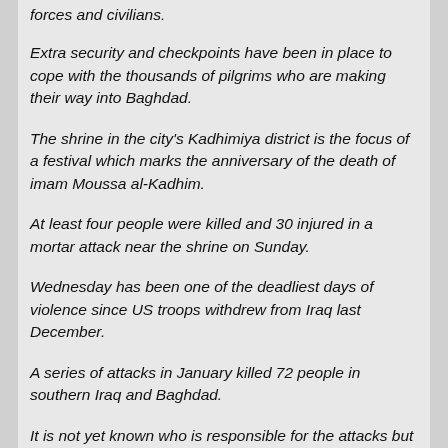forces and civilians.
Extra security and checkpoints have been in place to cope with the thousands of pilgrims who are making their way into Baghdad.
The shrine in the city's Kadhimiya district is the focus of a festival which marks the anniversary of the death of imam Moussa al-Kadhim.
At least four people were killed and 30 injured in a mortar attack near the shrine on Sunday.
Wednesday has been one of the deadliest days of violence since US troops withdrew from Iraq last December.
A series of attacks in January killed 72 people in southern Iraq and Baghdad.
It is not yet known who is responsible for the attacks but Iraqi Sunni insurgents tied to al-Qaeda have attacked Shia targets in the past.
BBC world affairs correspondent Emily Buchanan says sectarian tensions have been simmering since the US withdrawal, and this kind of violence is exactly what they had feared.
Shia Prime Minister Nouri Maliki has been trying to